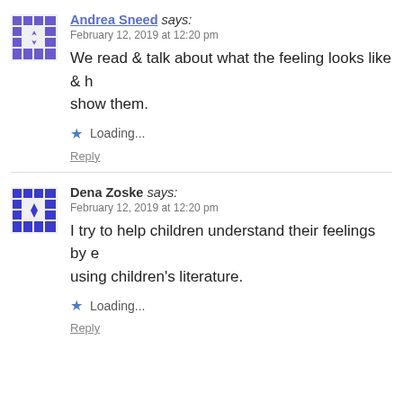Andrea Sneed says: February 12, 2019 at 12:20 pm
We read & talk about what the feeling looks like & how we show them.
Loading...
Reply
Dena Zoske says: February 12, 2019 at 12:20 pm
I try to help children understand their feelings by e... using children's literature.
Loading...
Reply